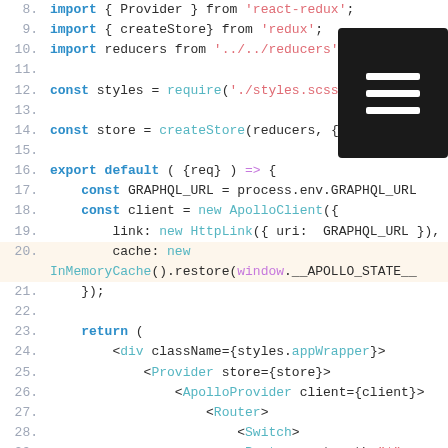[Figure (screenshot): Code editor screenshot showing JavaScript/JSX source code lines 8–33 with syntax highlighting. A dark hamburger menu icon overlay appears in the top-right corner.]